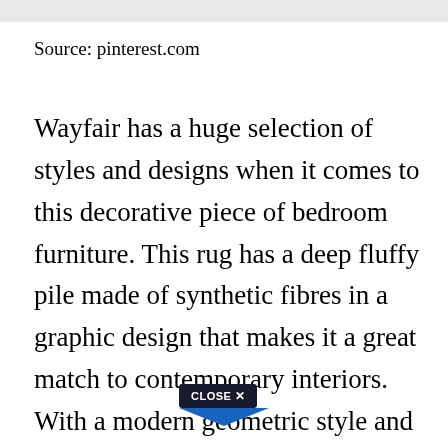Source: pinterest.com
Wayfair has a huge selection of styles and designs when it comes to this decorative piece of bedroom furniture. This rug has a deep fluffy pile made of synthetic fibres in a graphic design that makes it a great match to contemporary interiors. With a modern geometric style and warm tones of red ivory and brown this area rug is an eye-catching and inviting addition to a bedroom